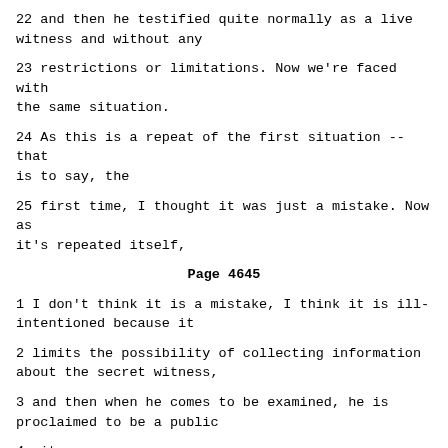22 and then he testified quite normally as a live witness and without any
23 restrictions or limitations. Now we're faced with the same situation.
24 As this is a repeat of the first situation -- that is to say, the
25 first time, I thought it was just a mistake. Now as it's repeated itself,
Page 4645
1 I don't think it is a mistake, I think it is ill-intentioned because it
2 limits the possibility of collecting information about the secret witness,
3 and then when he comes to be examined, he is proclaimed to be a public
4 witness.
5 At the same time, this witness is being introduced before the
6 witness that was supposed to testify - Isuf Loku - and not him. So we